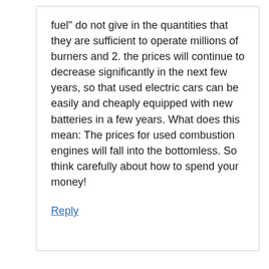fuel" do not give in the quantities that they are sufficient to operate millions of burners and 2. the prices will continue to decrease significantly in the next few years, so that used electric cars can be easily and cheaply equipped with new batteries in a few years. What does this mean: The prices for used combustion engines will fall into the bottomless. So think carefully about how to spend your money!
Reply